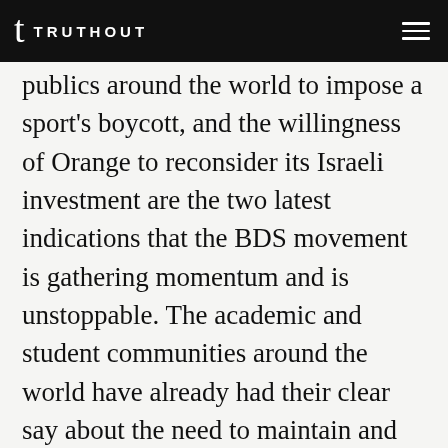TRUTHOUT
publics around the world to impose a sport's boycott, and the willingness of Orange to reconsider its Israeli investment are the two latest indications that the BDS movement is gathering momentum and is unstoppable. The academic and student communities around the world have already had their clear say about the need to maintain and increase this pressure. The EU is likely to follow suit with new policies about products from the occupied West Bank.
Also, the recognition by the Pope and the